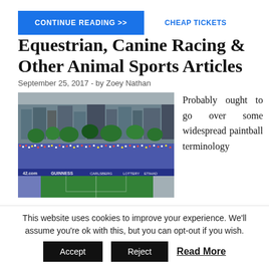CONTINUE READING >>
CHEAP TICKETS
Equestrian, Canine Racing & Other Animal Sports Articles
September 25, 2017  -  by Zoey Nathan
[Figure (photo): Aerial/wide view of a packed outdoor sports stadium with grandstands full of spectators, green pitch visible, urban buildings in the background. Sponsor banners including Guinness visible.]
Probably ought to go over some widespread paintball terminology
This website uses cookies to improve your experience. We'll assume you're ok with this, but you can opt-out if you wish.
Accept
Reject
Read More